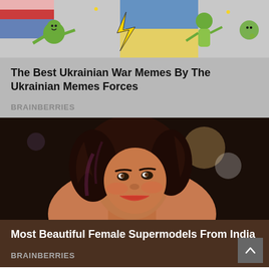[Figure (illustration): Cartoon meme illustration showing animated characters with flags, referencing Ukraine war memes by the Ukrainian Memes Forces]
The Best Ukrainian War Memes By The Ukrainian Memes Forces
BRAINBERRIES
[Figure (photo): Close-up photo of a smiling woman with dark curly hair, representing Indian female supermodels]
Most Beautiful Female Supermodels From India
BRAINBERRIES